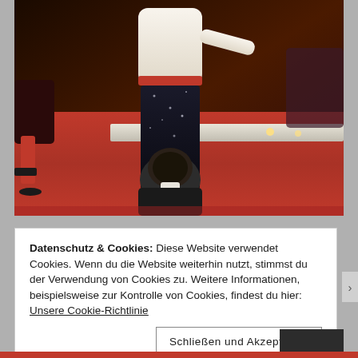[Figure (photo): A person in a white shirt and black sparkly pants standing/dancing on a red carpet stage, with another person in a dark suit kneeling or crouching at their feet. Other people and stage elements visible in the background.]
Datenschutz & Cookies: Diese Website verwendet Cookies. Wenn du die Website weiterhin nutzt, stimmst du der Verwendung von Cookies zu. Weitere Informationen, beispielsweise zur Kontrolle von Cookies, findest du hier: Unsere Cookie-Richtlinie
Schließen und Akzeptieren